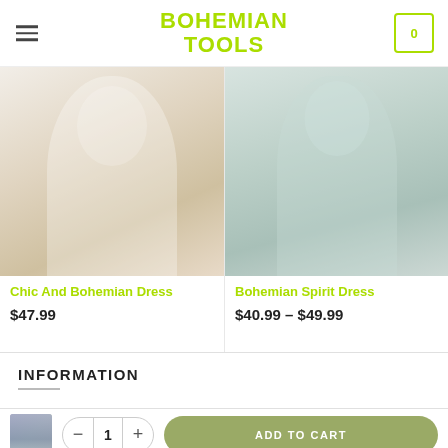BOHEMIAN TOOLS
[Figure (photo): Woman wearing a white and blue floral dress on white steps outdoors]
Chic And Bohemian Dress
$47.99
[Figure (photo): Woman in a mint green button-front midi dress holding a wicker bag]
Bohemian Spirit Dress
$40.99 – $49.99
INFORMATION
[Figure (photo): Thumbnail of a woman in a blue dress]
ADD TO CART